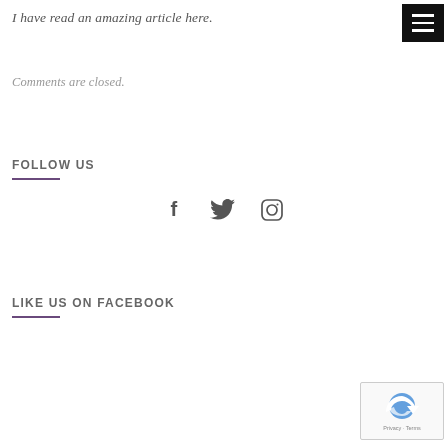I have read an amazing article here.
[Figure (other): Black hamburger/menu icon button with three white horizontal lines]
Comments are closed.
FOLLOW US
[Figure (other): Social media icons: Facebook (f), Twitter (bird), Instagram (camera circle), displayed in a row]
LIKE US ON FACEBOOK
[Figure (other): reCAPTCHA widget with Privacy - Terms text]